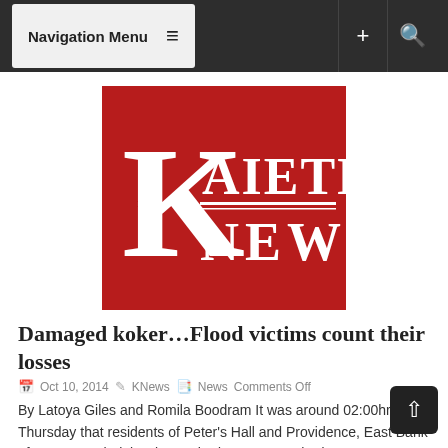Navigation Menu
[Figure (logo): Kaieteur News logo — large red background with white serif text 'K AIETEUR NEWS']
Damaged koker…Flood victims count their losses
Oct 10, 2014  KNews  News  Comments Off
By Latoya Giles and Romila Boodram It was around 02:00hrs on Thursday that residents of Peter's Hall and Providence, East Bank of Demerara, helplessly watched as water rushed